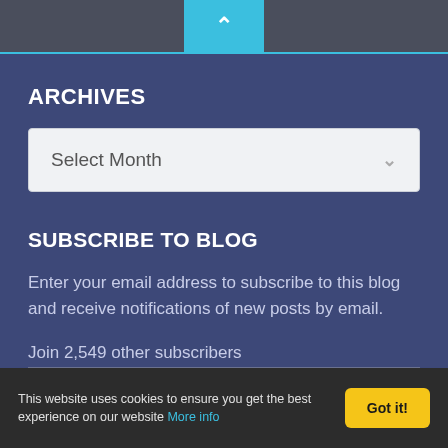[Figure (screenshot): Top navigation bar with cyan chevron-up button centered on dark gray bar]
ARCHIVES
[Figure (screenshot): Dropdown select element showing 'Select Month' with chevron down arrow]
SUBSCRIBE TO BLOG
Enter your email address to subscribe to this blog and receive notifications of new posts by email.
Join 2,549 other subscribers
This website uses cookies to ensure you get the best experience on our website More info
Got it!